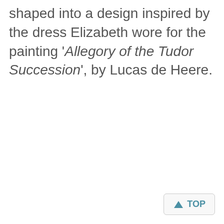shaped into a design inspired by the dress Elizabeth wore for the painting 'Allegory of the Tudor Succession', by Lucas de Heere.
[Figure (other): A 'TOP' navigation button with an upward-pointing arrow icon, styled in teal/blue color on a light grey rounded rectangle background.]